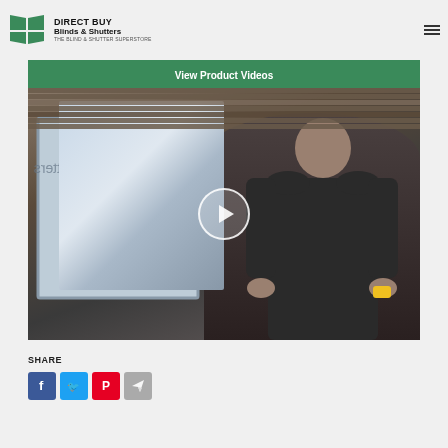[Figure (logo): Direct Buy Blinds & Shutters logo with green geometric grid icon and text 'DIRECT BUY Blinds & Shutters THE BLIND & SHUTTER SUPERSTORE']
[Figure (screenshot): Video thumbnail showing a man in a dark polo shirt standing in front of a window with wooden blinds, with a green header bar reading 'View Product Videos' and a play button overlay]
SHARE
[Figure (infographic): Four social share icon buttons: Facebook (blue), Twitter (light blue), Pinterest (red), Telegram (gray)]